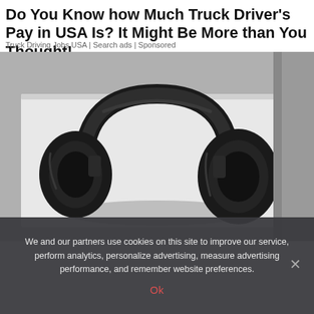Do You Know how Much Truck Driver's Pay in USA Is? It Might Be More than You Thought!
Truck Driving Jobs USA | Search ads | Sponsored
[Figure (photo): Over-ear headphones in black sitting on a white notebook/book on a gray surface, product photography style]
We and our partners use cookies on this site to improve our service, perform analytics, personalize advertising, measure advertising performance, and remember website preferences.
Ok